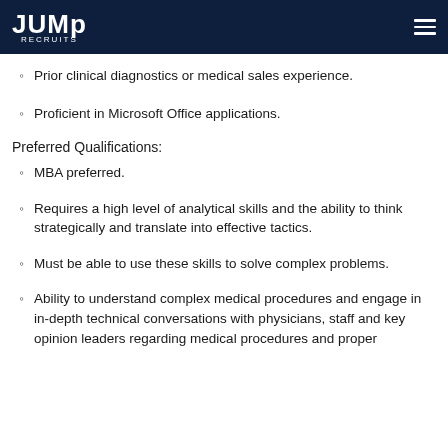JUMP RECRUITS
Prior clinical diagnostics or medical sales experience.
Proficient in Microsoft Office applications.
Preferred Qualifications:
MBA preferred.
Requires a high level of analytical skills and the ability to think strategically and translate into effective tactics.
Must be able to use these skills to solve complex problems.
Ability to understand complex medical procedures and engage in in-depth technical conversations with physicians, staff and key opinion leaders regarding medical procedures and proper